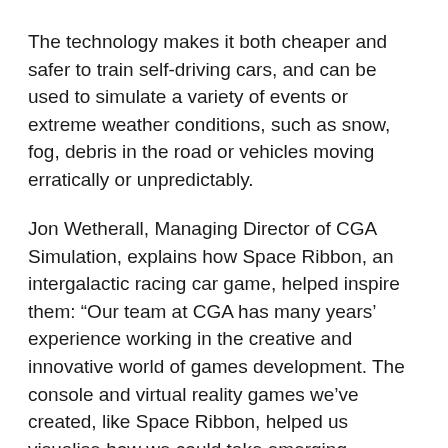The technology makes it both cheaper and safer to train self-driving cars, and can be used to simulate a variety of events or extreme weather conditions, such as snow, fog, debris in the road or vehicles moving erratically or unpredictably.
Jon Wetherall, Managing Director of CGA Simulation, explains how Space Ribbon, an intergalactic racing car game, helped inspire them: “Our team at CGA has many years’ experience working in the creative and innovative world of games development. The console and virtual reality games we’ve created, like Space Ribbon, helped us visualise how we could take emerging technologies and apply them to autonomous vehicle technologies” He added: “We hope that by combining our love of gaming, with our skills in simulation and futuristic technologies, we’ll help make autonomous